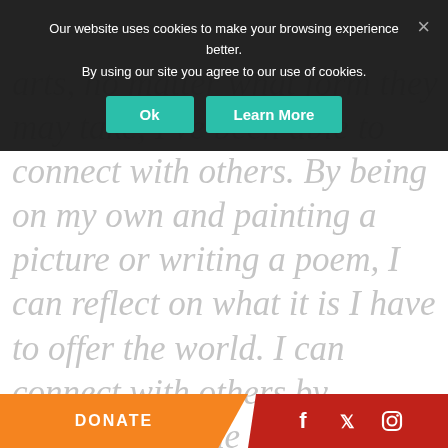[Figure (screenshot): Cookie consent overlay banner with dark background, white text reading 'Our website uses cookies to make your browsing experience better. By using our site you agree to our use of cookies.' with teal Ok and Learn More buttons and a close X.]
arts, no matter what form they may take, I've been able to connect with others. By being on my own and painting a picture or writing a poem, I can reflect on what it is I have to offer the world. I can connect with others by reflecting on the same aspects we see in the world — the same things that we love and the same things that we hate. The arts have opened me to new perspec